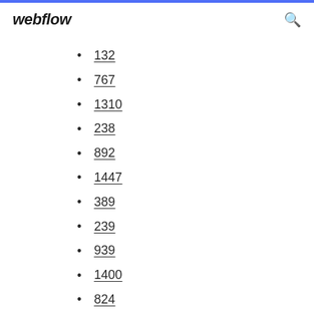webflow
132
767
1310
238
892
1447
389
239
939
1400
824
777